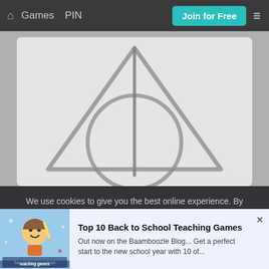Games  PIN  Join for Free  ≡
[Figure (photo): A pencil sketch drawing resembling the Deathly Hallows symbol — a triangle with a circle inside and a vertical line through the center — drawn on white paper with a pencil.]
We use cookies to give you the best online experience. By continuing to browse the site you are agreeing to our use of cookies.
[Figure (illustration): Thumbnail image for 'Top 10 Back to School Teaching Games' showing a cartoon character with school supplies on a blue background with the text 'Top 10 Back to school teaching games']
Top 10 Back to School Teaching Games
Out now on the Baamboozle Blog... Get a perfect start to the new school year with 10 of...